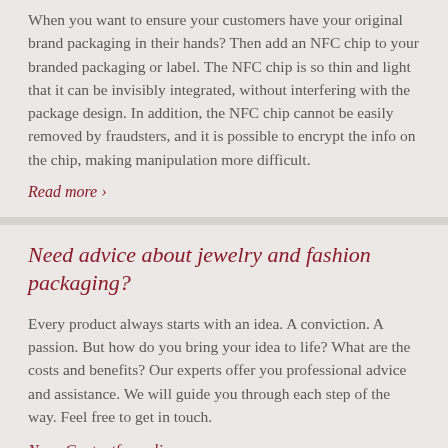When you want to ensure your customers have your original brand packaging in their hands? Then add an NFC chip to your branded packaging or label. The NFC chip is so thin and light that it can be invisibly integrated, without interfering with the package design. In addition, the NFC chip cannot be easily removed by fraudsters, and it is possible to encrypt the info on the chip, making manipulation more difficult.
Read more ›
Need advice about jewelry and fashion packaging?
Every product always starts with an idea. A conviction. A passion. But how do you bring your idea to life? What are the costs and benefits? Our experts offer you professional advice and assistance. We will guide you through each step of the way. Feel free to get in touch.
Naar Contactformulier ›